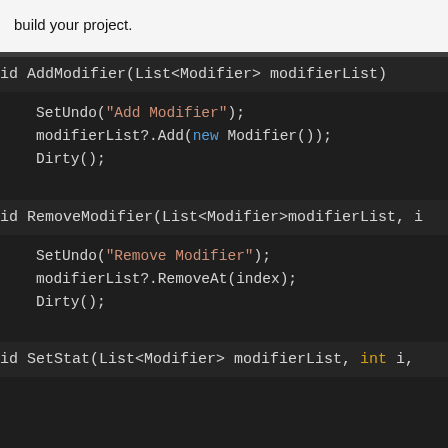build your project.
[Figure (screenshot): Code editor screenshot showing C# methods: AddModifier, RemoveModifier, and SetStat with dark theme syntax highlighting]
id AddModifier(List<Modifier> modifierList)
SetUndo("Add Modifier");
modifierList?.Add(new Modifier());
Dirty();
id RemoveModifier(List<Modifier>modifierList, i
SetUndo("Remove Modifier");
modifierList?.RemoveAt(index);
Dirty();
id SetStat(List<Modifier> modifierList, int i,